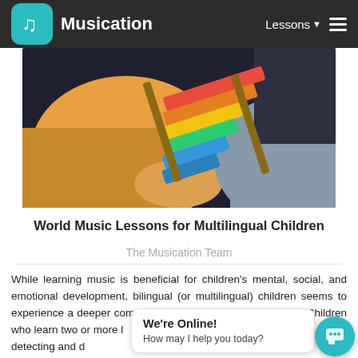Musication — Lessons
[Figure (photo): Child in yellow top playing with a colorful xylophone toy]
World Music Lessons for Multilingual Children
The Musication Team
While learning music is beneficial for children's mental, social, and emotional development, bilingual (or multilingual) children seems to experience a deeper comprehension of acoustics in general. Children who learn two or more languages have better articulation in detecting and discriminating between languages and with overlapping sounds they enable a
We're Online! How may I help you today?